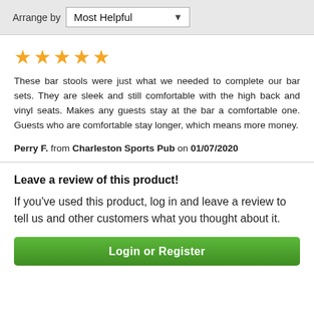Arrange by Most Helpful
[Figure (other): 5 gold stars rating]
These bar stools were just what we needed to complete our bar sets. They are sleek and still comfortable with the high back and vinyl seats. Makes any guests stay at the bar a comfortable one. Guests who are comfortable stay longer, which means more money.
Perry F. from Charleston Sports Pub on 01/07/2020
Leave a review of this product!
If you've used this product, log in and leave a review to tell us and other customers what you thought about it.
Login or Register